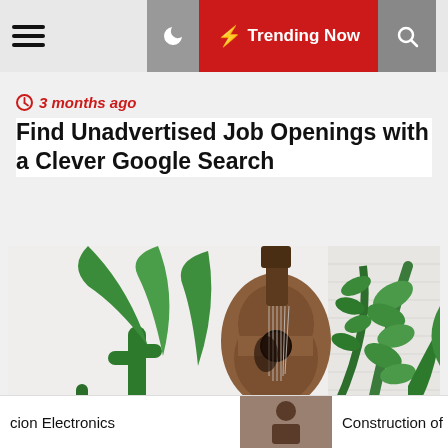Trending Now
3 months ago
Find Unadvertised Job Openings with a Clever Google Search
[Figure (photo): Photo of indoor plants and a guitar hanging on a white wall, featuring a cactus, palm leaf, monstera leaf, and other green plants]
2 months ago
Top tips for a garden that's small but beautifully farmed
cion Electronics   Construction of Mu